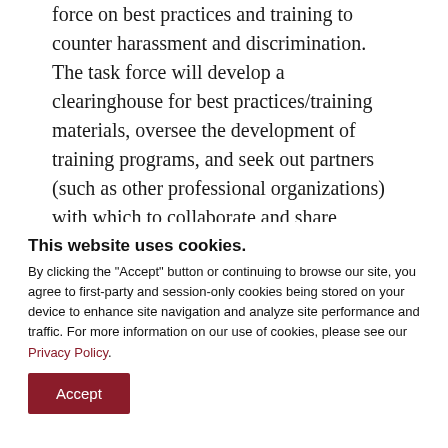force on best practices and training to counter harassment and discrimination. The task force will develop a clearinghouse for best practices/training materials, oversee the development of training programs, and seek out partners (such as other professional organizations) with which to collaborate and share information.
It's important to weed out harassment and discrimination. essential to take...
This website uses cookies.
By clicking the "Accept" button or continuing to browse our site, you agree to first-party and session-only cookies being stored on your device to enhance site navigation and analyze site performance and traffic. For more information on our use of cookies, please see our Privacy Policy.
Accept